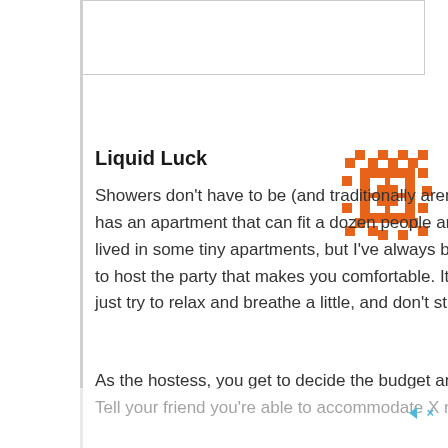[Figure (logo): Orange decorative snowflake/cross pattern logo]
Liquid Luck
Showers don't have to be (and traditionally aren't) large gatherings. No one has an apartment that can fit a dozen people and a few extra chairs? I've lived in some tiny apartments, but I've always been able to manage. Offer to host the party that makes you comfortable. It's your gift to your friend, so just try to relax and breathe a little, and don't stretch yourself too thin.
As the hostess, you get to decide the budget and the number of guests. Tell your friend you're able to accommodate X number of guests, and that